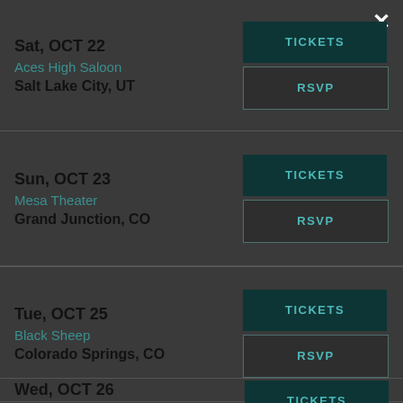Sat, OCT 22 | Aces High Saloon | Salt Lake City, UT
Sun, OCT 23 | Mesa Theater | Grand Junction, CO
Tue, OCT 25 | Black Sheep | Colorado Springs, CO
Wed, OCT 26 | Oriental Theater